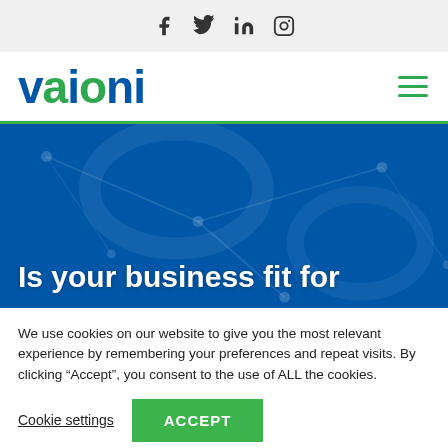[Figure (other): Social media icons bar: Facebook, Twitter, LinkedIn, Instagram]
[Figure (logo): Vaioni company logo in blue and green, with hamburger menu icon on right]
[Figure (other): Dark blue hero banner with abstract network graphic background]
Is your business fit for
We use cookies on our website to give you the most relevant experience by remembering your preferences and repeat visits. By clicking “Accept”, you consent to the use of ALL the cookies.
Cookie settings | ACCEPT